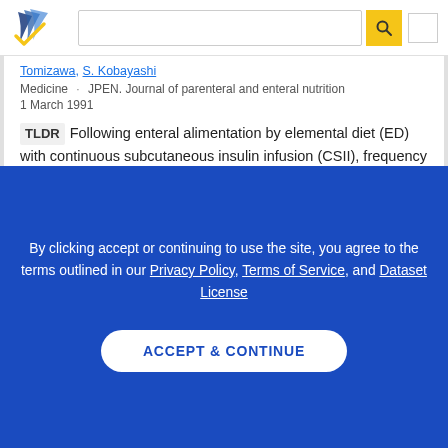[Figure (screenshot): Semantic Scholar logo with blue and gold checkmark/arrow icon]
Tomizawa, S. Kobayashi
Medicine · JPEN. Journal of parenteral and enteral nutrition
1 March 1991
TLDR Following enteral alimentation by elemental diet (ED) with continuous subcutaneous insulin infusion (CSII), frequency of diarrhea remarkably decreased and general nutritional condition was improved and spontaneous urination appeared following this treatment. Expand
4citations  1
By clicking accept or continuing to use the site, you agree to the terms outlined in our Privacy Policy, Terms of Service, and Dataset License
ACCEPT & CONTINUE